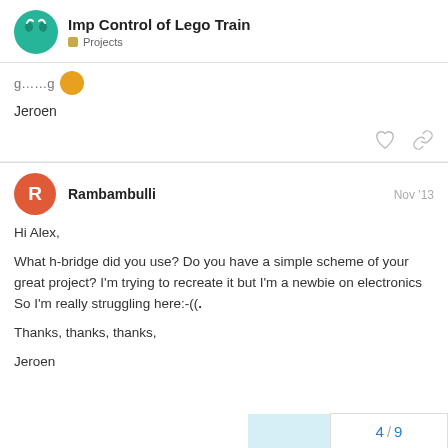Imp Control of Lego Train — Projects
Jeroen
Rambambulli  Nov '13
Hi Alex,

What h-bridge did you use? Do you have a simple scheme of your great project? I'm trying to recreate it but I'm a newbie on electronics So I'm really struggling here:-((.

Thanks, thanks, thanks,

Jeroen
4 / 9